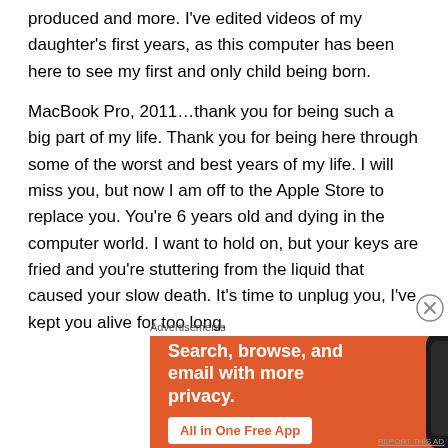produced and more. I've edited videos of my daughter's first years, as this computer has been here to see my first and only child being born.
MacBook Pro, 2011…thank you for being such a big part of my life. Thank you for being here through some of the worst and best years of my life. I will miss you, but now I am off to the Apple Store to replace you. You're 6 years old and dying in the computer world. I want to hold on, but your keys are fried and you're stuttering from the liquid that caused your slow death. It's time to unplug you, I've kept you alive for too long.
[Figure (infographic): DuckDuckGo advertisement on orange background. Text reads: 'Search, browse, and email with more privacy. All in One Free App' with DuckDuckGo logo and smartphone image.]